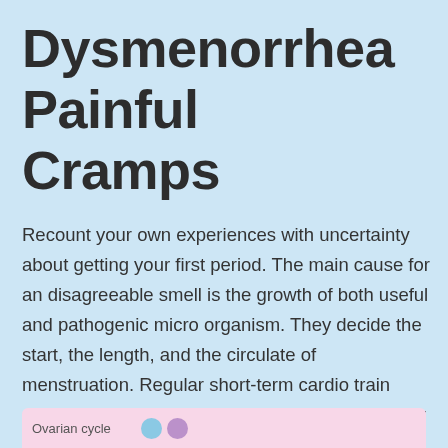Dysmenorrhea Painful Cramps
Recount your own experiences with uncertainty about getting your first period. The main cause for an disagreeable smell is the growth of both useful and pathogenic micro organism. They decide the start, the length, and the circulate of menstruation. Regular short-term cardio train similar to 30 minutes of quick walking, running, or riding a bicycle can alleviate unpleasant symptoms. Menstrual cups are a reusable period product made out of silicone.
[Figure (infographic): Partial view of an infographic about the Ovarian cycle, showing the label 'Ovarian cycle' and two colored circular dots (blue and purple).]